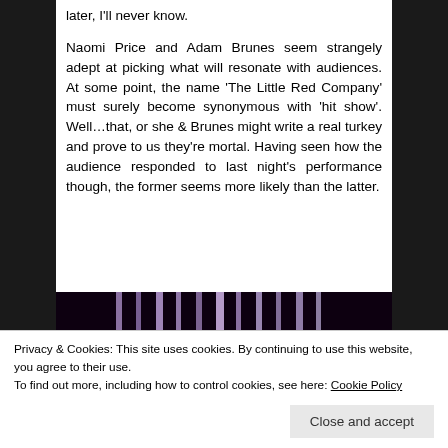later, I'll never know.
Naomi Price and Adam Brunes seem strangely adept at picking what will resonate with audiences. At some point, the name ‘The Little Red Company’ must surely become synonymous with ‘hit show’. Well…that, or she & Brunes might write a real turkey and prove to us they’re mortal. Having seen how the audience responded to last night’s performance though, the former seems more likely than the latter.
[Figure (photo): Dark stage performance photo showing vertical beams of purple/white light against a black background]
Privacy & Cookies: This site uses cookies. By continuing to use this website, you agree to their use.
To find out more, including how to control cookies, see here: Cookie Policy
Close and accept